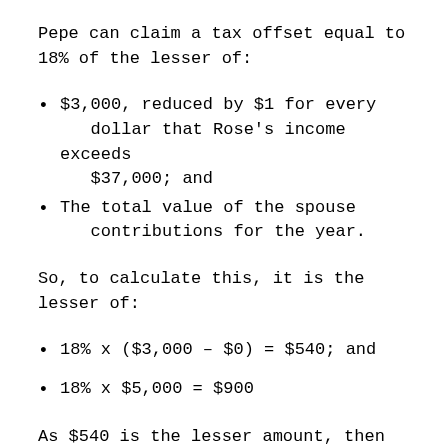Pepe can claim a tax offset equal to 18% of the lesser of:
$3,000, reduced by $1 for every dollar that Rose's income exceeds $37,000; and
The total value of the spouse contributions for the year.
So, to calculate this, it is the lesser of:
18% x ($3,000 – $0) = $540; and
18% x $5,000 = $900
As $540 is the lesser amount, then